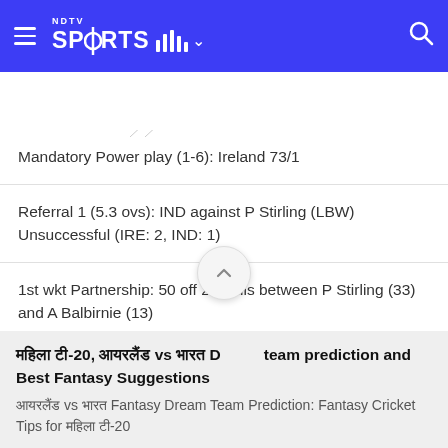NDTV SPORTS
Mandatory Power play (1-6): Ireland 73/1
Referral 1 (5.3 ovs): IND against P Stirling (LBW) Unsuccessful (IRE: 2, IND: 1)
1st wkt Partnership: 50 off 23 balls between P Stirling (33) and A Balbirnie (13)
Ireland 50/0 in 3.5 overs
महिला टी-20, आयरलैंड vs भारत Dream team prediction and Best Fantasy Suggestions
आयरलैंड vs भारत Fantasy Dream Team Prediction: Fantasy Cricket Tips for महिला टी-20